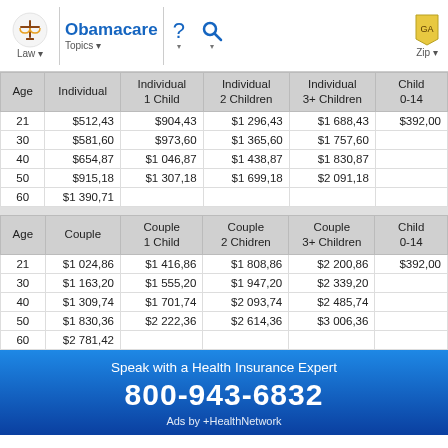Obamacare | Law | Topics | Zip
| Age | Individual | Individual 1 Child | Individual 2 Children | Individual 3+ Children | Child 0-14 |
| --- | --- | --- | --- | --- | --- |
| 21 | $512,43 | $904,43 | $1 296,43 | $1 688,43 | $392,00 |
| 30 | $581,60 | $973,60 | $1 365,60 | $1 757,60 |  |
| 40 | $654,87 | $1 046,87 | $1 438,87 | $1 830,87 |  |
| 50 | $915,18 | $1 307,18 | $1 699,18 | $2 091,18 |  |
| 60 | $1 390,71 |  |  |  |  |
| Age | Couple | Couple 1 Child | Couple 2 Chidren | Couple 3+ Children | Child 0-14 |
| --- | --- | --- | --- | --- | --- |
| 21 | $1 024,86 | $1 416,86 | $1 808,86 | $2 200,86 | $392,00 |
| 30 | $1 163,20 | $1 555,20 | $1 947,20 | $2 339,20 |  |
| 40 | $1 309,74 | $1 701,74 | $2 093,74 | $2 485,74 |  |
| 50 | $1 830,36 | $2 222,36 | $2 614,36 | $3 006,36 |  |
| 60 | $2 781,42 |  |  |  |  |
Speak with a Health Insurance Expert
800-943-6832
Ads by +HealthNetwork